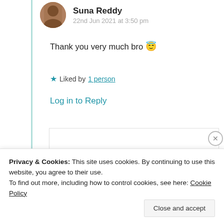Suna Reddy
22nd Jun 2021 at 3:50 pm
Thank you very much bro 😇
★ Liked by 1 person
Log in to Reply
ShankySalty
23rd Jun 2021 at
Privacy & Cookies: This site uses cookies. By continuing to use this website, you agree to their use.
To find out more, including how to control cookies, see here: Cookie Policy
Close and accept